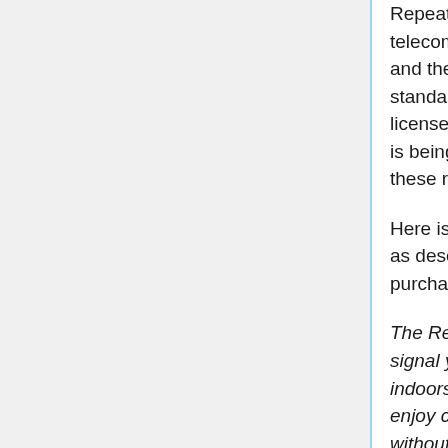Repeaters are almost never installed by telecom companies, but rather by third-parties, and therefore generally do not conform to standards and regulations or have any kind of license to operate. The company whose signal is being repeated takes no responsibility for these repeaters.
Here is an example of how a repeater works as described on the site where it can be purchased.
The Repeater captures the reliable cellular signal you have outdoors and rebroadcasts it indoors, up to 2,500 square feet, so you can enjoy clearer, faster and more reliable service without interruption. Remember, coverage varies based on outdoor signal level, building construction, and antenna placement. Coverage in adjoining rooms will be